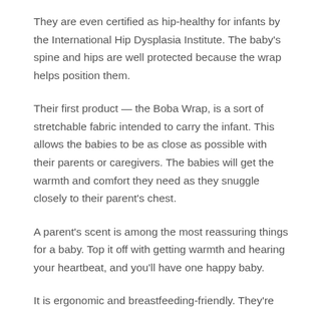They are even certified as hip-healthy for infants by the International Hip Dysplasia Institute. The baby's spine and hips are well protected because the wrap helps position them.
Their first product — the Boba Wrap, is a sort of stretchable fabric intended to carry the infant. This allows the babies to be as close as possible with their parents or caregivers. The babies will get the warmth and comfort they need as they snuggle closely to their parent's chest.
A parent's scent is among the most reassuring things for a baby. Top it off with getting warmth and hearing your heartbeat, and you'll have one happy baby.
It is ergonomic and breastfeeding-friendly. They're best used on newborns, but you can still use them if your child is already a toddler. Aside from Boba Wraps, they also offer Boba Carriers as